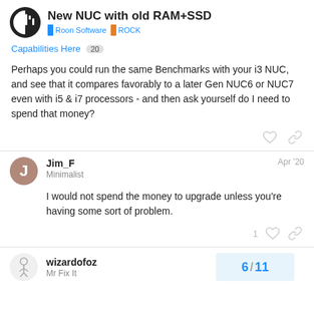New NUC with old RAM+SSD | Roon Software | ROCK
Capabilities Here 20
Perhaps you could run the same Benchmarks with your i3 NUC, and see that it compares favorably to a later Gen NUC6 or NUC7 even with i5 & i7 processors - and then ask yourself do I need to spend that money?
Jim_F
Minimalist
Apr '20
I would not spend the money to upgrade unless you're having some sort of problem.
1
wizardofoz
Mr Fix It
6 / 11